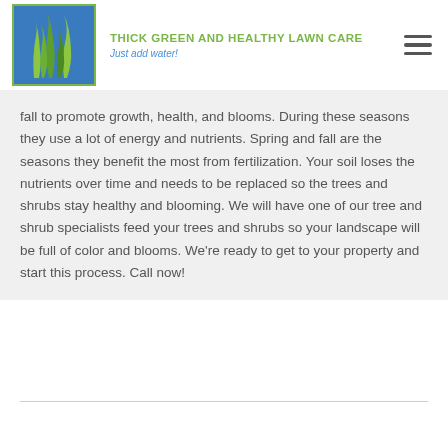[Figure (logo): Thick Green and Healthy Lawn Care logo with grass illustration on blue background]
THICK Green and Healthy Lawn Care
Just add water!
fall to promote growth, health, and blooms. During these seasons they use a lot of energy and nutrients. Spring and fall are the seasons they benefit the most from fertilization. Your soil loses the nutrients over time and needs to be replaced so the trees and shrubs stay healthy and blooming. We will have one of our tree and shrub specialists feed your trees and shrubs so your landscape will be full of color and blooms. We're ready to get to your property and start this process. Call now!